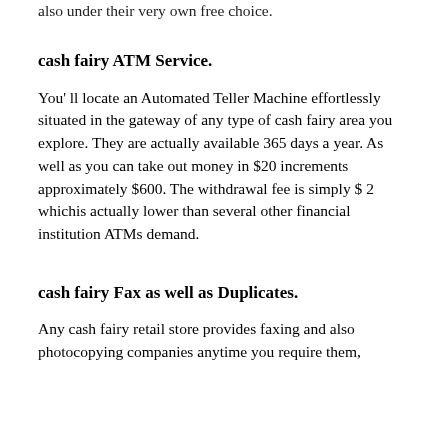also under their very own free choice.
cash fairy ATM Service.
You' ll locate an Automated Teller Machine effortlessly situated in the gateway of any type of cash fairy area you explore. They are actually available 365 days a year. As well as you can take out money in $20 increments approximately $600. The withdrawal fee is simply $ 2 whichis actually lower than several other financial institution ATMs demand.
cash fairy Fax as well as Duplicates.
Any cash fairy retail store provides faxing and also photocopying companies anytime you require them,